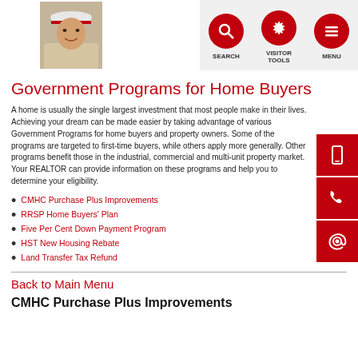[Figure (photo): A man in a white hard hat and light jacket, smiling, realtor photo]
[Figure (infographic): Navigation icons: Search (magnifying glass), Visitor Tools (gear), Menu (hamburger) in red circles]
[Figure (infographic): Right-side floating contact buttons: mobile phone icon, phone icon, email @ icon — all red]
Government Programs for Home Buyers
A home is usually the single largest investment that most people make in their lives. Achieving your dream can be made easier by taking advantage of various Government Programs for home buyers and property owners. Some of the programs are targeted to first-time buyers, while others apply more generally. Other programs benefit those in the industrial, commercial and multi-unit property market. Your REALTOR can provide information on these programs and help you to determine your eligibility.
CMHC Purchase Plus Improvements
RRSP Home Buyers' Plan
Five Per Cent Down Payment Program
HST New Housing Rebate
Land Transfer Tax Refund
Back to Main Menu
CMHC Purchase Plus Improvements